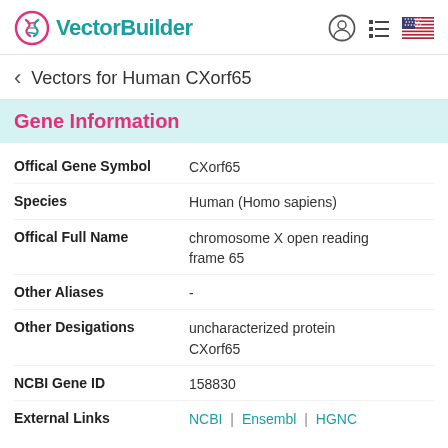[Figure (logo): VectorBuilder logo with teal DNA helix icon and teal text]
Vectors for Human CXorf65
Gene Information
| Field | Value |
| --- | --- |
| Offical Gene Symbol | CXorf65 |
| Species | Human (Homo sapiens) |
| Offical Full Name | chromosome X open reading frame 65 |
| Other Aliases | - |
| Other Desigations | uncharacterized protein CXorf65 |
| NCBI Gene ID | 158830 |
| External Links | NCBI | Ensembl | HGNC |